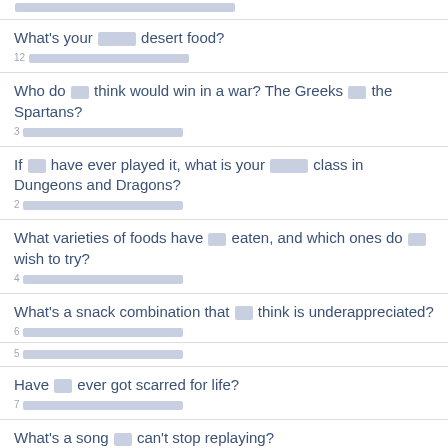What's your [redacted] desert food? 12 [redacted]
Who do [redacted] think would win in a war? The Greeks [redacted] the Spartans? 3 [redacted]
If [redacted] have ever played it, what is your [redacted] class in Dungeons and Dragons? 2 [redacted]
What varieties of foods have [redacted] eaten, and which ones do [redacted] wish to try? 4 [redacted]
What's a snack combination that [redacted] think is underappreciated? 6 [redacted]
5 [redacted]
Have [redacted] ever got scarred for life? 7 [redacted]
What's a song [redacted] can't stop replaying? 8 [redacted]